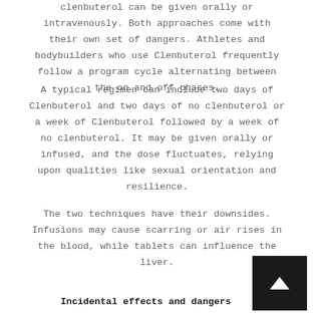clenbuterol can be given orally or intravenously. Both approaches come with their own set of dangers. Athletes and bodybuilders who use Clenbuterol frequently follow a program cycle alternating between the on and off phases.
A typical regimen can include two days of Clenbuterol and two days of no clenbuterol or a week of Clenbuterol followed by a week of no clenbuterol. It may be given orally or infused, and the dose fluctuates, relying upon qualities like sexual orientation and resilience.
The two techniques have their downsides. Infusions may cause scarring or air rises in the blood, while tablets can influence the liver.
Incidental effects and dangers